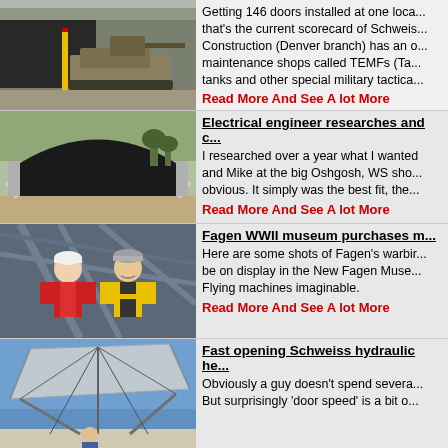[Figure (photo): Military tank (Bradley Fighting Vehicle) parked outside a large building/hangar]
Getting 146 doors installed at one location — that's the current scorecard of Schweiss Construction (Denver branch) has an order for maintenance shops called TEMFs (Ta... tanks and other special military tactica...
Read More And See A lot More
[Figure (photo): Large metal open-front aircraft hangar or storage building with no doors yet, outdoors]
Electrical engineer researches and c...
I researched over a year what I wanted and Mike at the big Oshgosh, WS show obvious. It simply was the best fit, the...
Read More And See A lot More
[Figure (photo): Two men wearing hard hats and safety vests (one red, one yellow) posing inside a construction site]
Fagen WWII museum purchases mu...
Here are some shots of Fagen's warbirds that will be on display in the New Fagen Museum. Flying machines imaginable.
Read More And See A lot More
[Figure (photo): A man standing below a large hydraulic bifold door opening upward against a blue sky]
Fast opening Schweiss hydraulic he...
Obviously a guy doesn't spend severa... But surprisingly 'door speed' is a bit o...